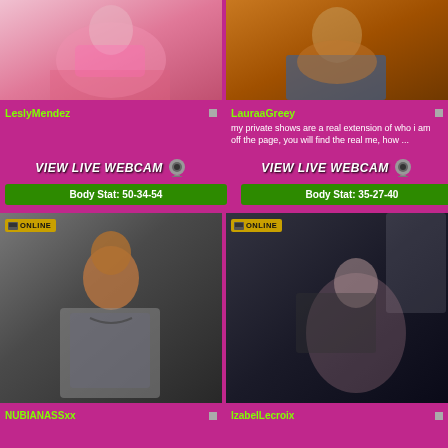[Figure (photo): LeslyMendez profile thumbnail - woman in pink lingerie on bed]
[Figure (photo): LauraaGreey profile thumbnail - woman in denim jacket]
LeslyMendez
LauraaGreey
my private shows are a real extension of who i am off the page, you will find the real me, how ...
VIEW LIVE WEBCAM
VIEW LIVE WEBCAM
Body Stat: 50-34-54
Body Stat: 35-27-40
[Figure (photo): NUBIANASSxx profile thumbnail - woman with short hair, gray cardigan]
[Figure (photo): IzabelLecroix profile thumbnail - dark-haired woman in black outfit with fishnet]
NUBIANASSxx
IzabelLecroix